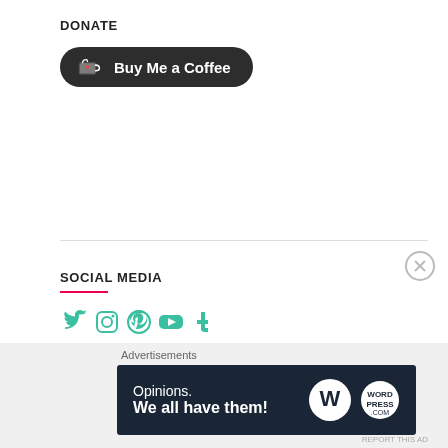DONATE
[Figure (other): Buy Me a Coffee button — dark rounded pill button with coffee cup icon and text 'Buy Me a Coffee']
SOCIAL MEDIA
[Figure (other): Social media icons: Twitter, Instagram, Pinterest, YouTube, Tumblr — all in teal/green color]
[Figure (other): Search bar with placeholder 'Search ...' and teal SEARCH button]
Advertisements
[Figure (other): Advertisement banner with dark navy background, text 'Opinions. We all have them!' and WordPress and dot-com logos]